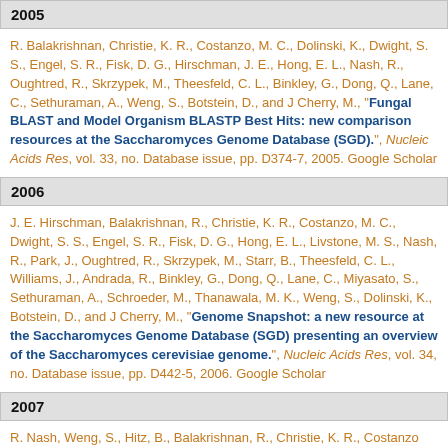2005
R. Balakrishnan, Christie, K. R., Costanzo, M. C., Dolinski, K., Dwight, S. S., Engel, S. R., Fisk, D. G., Hirschman, J. E., Hong, E. L., Nash, R., Oughtred, R., Skrzypek, M., Theesfeld, C. L., Binkley, G., Dong, Q., Lane, C., Sethuraman, A., Weng, S., Botstein, D., and J Cherry, M., "Fungal BLAST and Model Organism BLASTP Best Hits: new comparison resources at the Saccharomyces Genome Database (SGD).", Nucleic Acids Res, vol. 33, no. Database issue, pp. D374-7, 2005. Google Scholar
2006
J. E. Hirschman, Balakrishnan, R., Christie, K. R., Costanzo, M. C., Dwight, S. S., Engel, S. R., Fisk, D. G., Hong, E. L., Livstone, M. S., Nash, R., Park, J., Oughtred, R., Skrzypek, M., Starr, B., Theesfeld, C. L., Williams, J., Andrada, R., Binkley, G., Dong, Q., Lane, C., Miyasato, S., Sethuraman, A., Schroeder, M., Thanawala, M. K., Weng, S., Dolinski, K., Botstein, D., and J Cherry, M., "Genome Snapshot: a new resource at the Saccharomyces Genome Database (SGD) presenting an overview of the Saccharomyces cerevisiae genome.", Nucleic Acids Res, vol. 34, no. Database issue, pp. D442-5, 2006. Google Scholar
2007
R. Nash, Weng, S., Hitz, B., Balakrishnan, R., Christie, K. R., Costanzo...